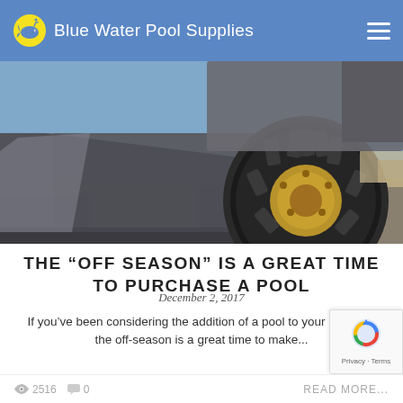Blue Water Pool Supplies
[Figure (photo): Close-up photo of a large construction vehicle / bulldozer bucket and large tire on a sandy lot, blue sky visible in background]
THE “OFF SEASON” IS A GREAT TIME TO PURCHASE A POOL
December 2, 2017
If you’ve been considering the addition of a pool to your property, the off-season is a great time to make...
2516   0   READ MORE...